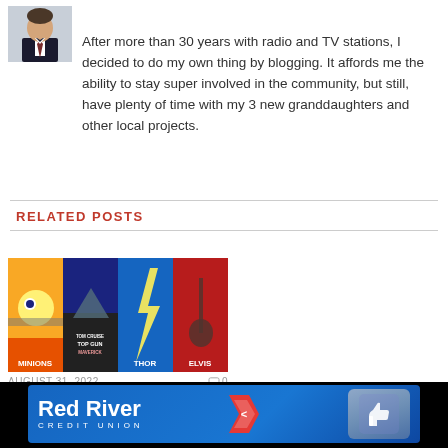[Figure (photo): Headshot of a man in a dark suit and tie]
After more than 30 years with radio and TV stations, I decided to do my own thing by blogging. It affords me the ability to stay super involved in the community, but still, have plenty of time with my 3 new granddaughters and other local projects.
RELATED POSTS
[Figure (photo): Collage of summer 2022 movie posters: Minions, Top Gun Maverick, Thor Love and Thunder, Elvis]
AUGUST 31, 2022   💬 0
[Figure (illustration): Red River Credit Union Facebook banner advertisement with thumbs up logo]